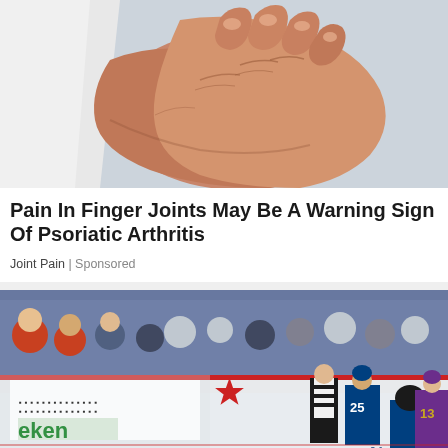[Figure (photo): Close-up photo of elderly person's hands, one hand grasping the other wrist, showing signs of joint pain or arthritis, against a light blue-grey background]
Pain In Finger Joints May Be A Warning Sign Of Psoriatic Arthritis
Joint Pain | Sponsored
[Figure (photo): Ice hockey game photo showing players including a goalie and skaters with jersey numbers 25 and 13, a referee in black and white stripes, rink boards with Heineken and star logos visible]